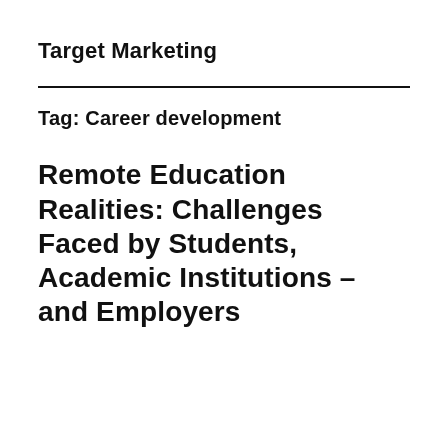Target Marketing
Tag: Career development
Remote Education Realities: Challenges Faced by Students, Academic Institutions – and Employers